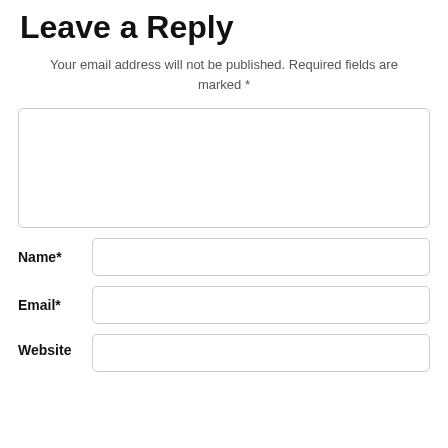Leave a Reply
Your email address will not be published. Required fields are marked *
[Figure (other): Large empty comment text area input box with rounded border]
Name*
[Figure (other): Name input field]
Email*
[Figure (other): Email input field]
Website
[Figure (other): Website input field]